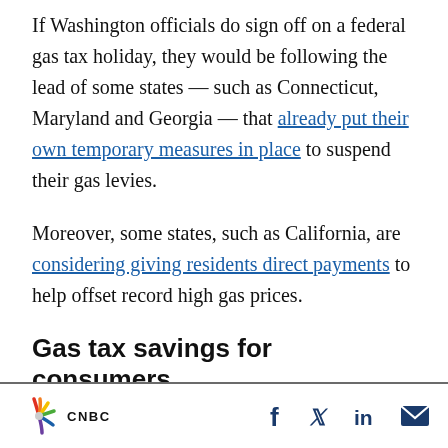If Washington officials do sign off on a federal gas tax holiday, they would be following the lead of some states — such as Connecticut, Maryland and Georgia — that already put their own temporary measures in place to suspend their gas levies.
Moreover, some states, such as California, are considering giving residents direct payments to help offset record high gas prices.
Gas tax savings for consumers would be minimal
CNBC | Share on Facebook, Twitter, LinkedIn, Email